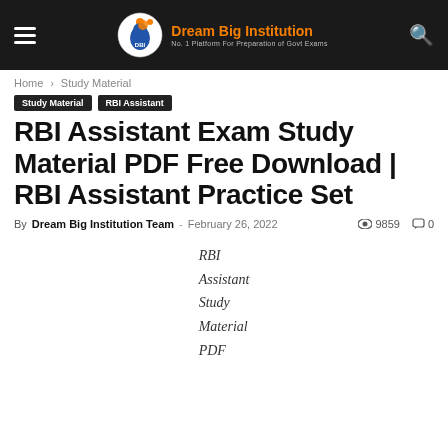Dream Big Institution — No. 1 Platform For Preparation of Govt Exams
Home › Study Material
Study Material | RBI Assistant
RBI Assistant Exam Study Material PDF Free Download | RBI Assistant Practice Set
By Dream Big Institution Team - February 26, 2022 | 9859 views | 0 comments
[Figure (illustration): Text overlay image showing 'RBI Assistant Study Material PDF' in italic text, centered on white background]